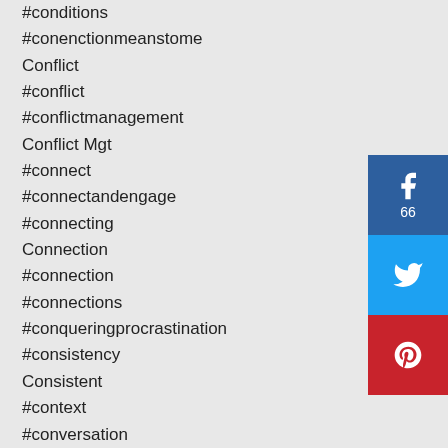#conditions
#conenctionmeanstome
Conflict
#conflict
#conflictmanagement
Conflict Mgt
#connect
#connectandengage
#connecting
Connection
#connection
#connections
#conqueringprocrastination
#consistency
Consistent
#context
#conversation
Conversation Sparker
#coreingredients